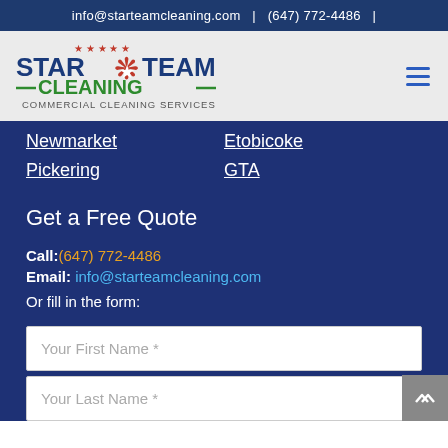info@starteamcleaning.com  |  (647) 772-4486  |
[Figure (logo): Star Team Cleaning logo with red maple leaf and stars, blue and green text reading STAR TEAM CLEANING — COMMERCIAL CLEANING SERVICES]
Newmarket
Etobicoke
Pickering
GTA
Get a Free Quote
Call: (647) 772-4486
Email: info@starteamcleaning.com
Or fill in the form:
Your First Name *
Your Last Name *